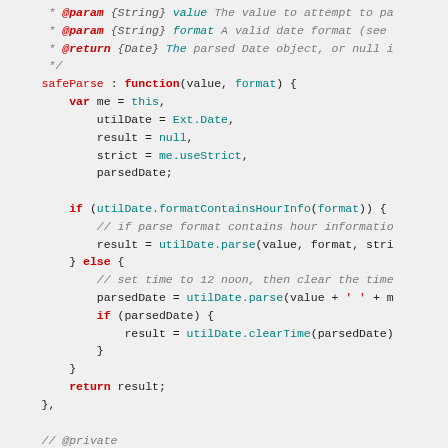[Figure (screenshot): Code screenshot showing a JavaScript safeParse function with JSDoc comments and syntax highlighting on a light gray background.]